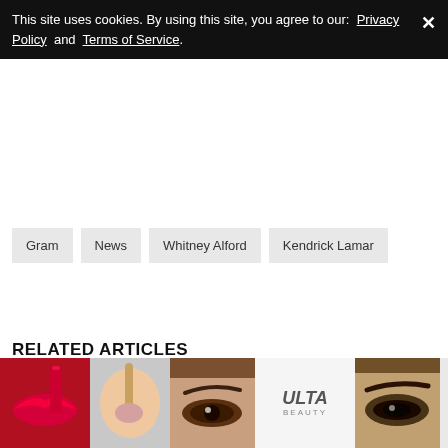This site uses cookies. By using this site, you agree to our: Privacy Policy and Terms of Service.
Gram
News
Whitney Alford
Kendrick Lamar
RELATED ARTICLES
[Figure (photo): Advertisement banner for Ulta Beauty featuring close-up makeup photos (lips, eye makeup, smoky eyes) and Ulta logo with Shop Now text]